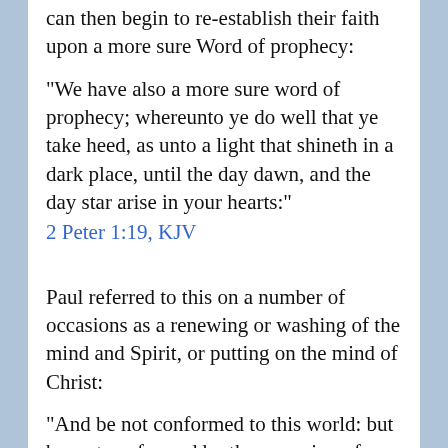can then begin to re-establish their faith upon a more sure Word of prophecy:
"We have also a more sure word of prophecy; whereunto ye do well that ye take heed, as unto a light that shineth in a dark place, until the day dawn, and the day star arise in your hearts:" 2 Peter 1:19, KJV
Paul referred to this on a number of occasions as a renewing or washing of the mind and Spirit, or putting on the mind of Christ:
"And be not conformed to this world: but be ye transformed by the renewing of your mind, that ye may prove what is that good, and acceptable, and perfect will of God:"